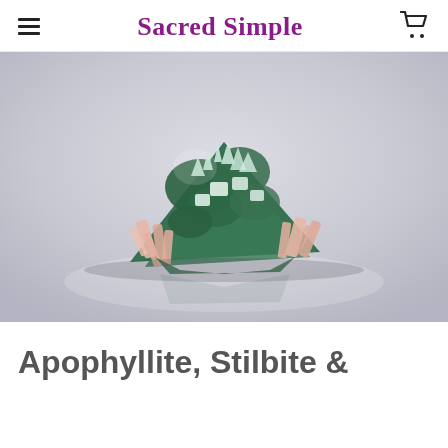Sacred Simple
[Figure (photo): A mineral specimen cluster featuring dark green apophyllite with pink/peach stilbite crystals and white formations, photographed on a white reflective surface with soft gray gradient background.]
Apophyllite, Stilbite &